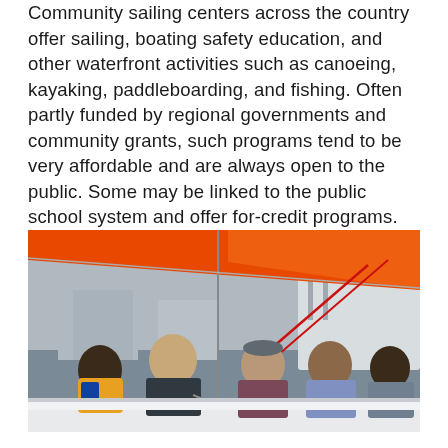Community sailing centers across the country offer sailing, boating safety education, and other waterfront activities such as canoeing, kayaking, paddleboarding, and fishing. Often partly funded by regional governments and community grants, such programs tend to be very affordable and are always open to the public. Some may be linked to the public school system and offer for-credit programs. They often have high standards for safety and instruction.
[Figure (photo): A group of people on a sailboat — an adult male instructor wearing sunglasses, a young boy in a yellow and blue life jacket, a woman in a gray cap and vest, and two girls wearing blue life jackets — with an orange sail overhead and a harbor/cruise ship in the background.]